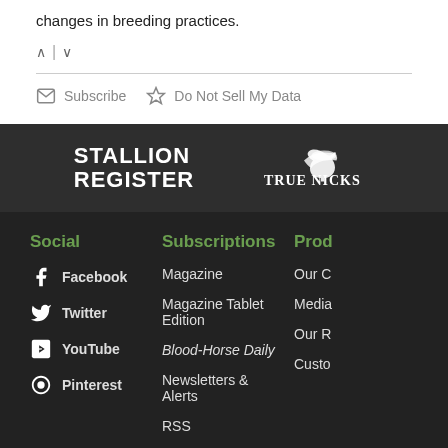changes in breeding practices.
↑ | ↓
Subscribe  Do Not Sell My Data
[Figure (logo): Stallion Register and TrueNicks logos on dark gray bar]
Social
Facebook
Twitter
YouTube
Pinterest
Subscriptions
Magazine
Magazine Tablet Edition
Blood-Horse Daily
Newsletters & Alerts
RSS
Prod…